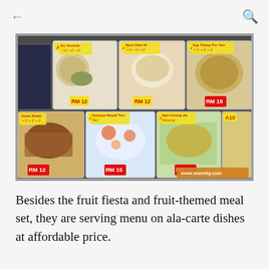← (back) | 🔍 (search)
[Figure (photo): A restaurant food menu display board showing multiple dish options in illuminated photo panels. Each panel shows a food photo with a label (A2, A3, A5, A7, A8, A9, A10) and prices in Malaysian Ringgit (RM 12, RM 12, RM 18, RM 12, RM 15, RM 15). A watermark reads www.imemily.com.]
Besides the fruit fiesta and fruit-themed meal set, they are serving menu on ala-carte dishes at affordable price.